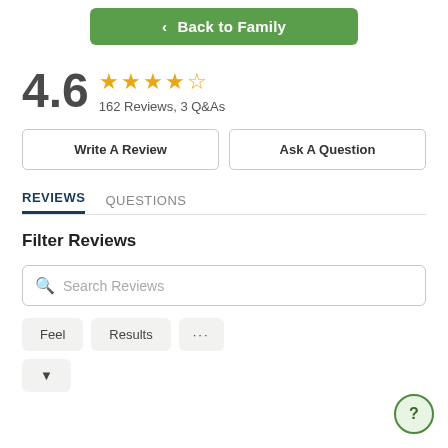[Figure (screenshot): Back to Family navigation button (green)]
4.6 ★★★★½ 162 Reviews, 3 Q&As
Write A Review
Ask A Question
REVIEWS    QUESTIONS
Filter Reviews
Search Reviews
Feel    Results    ...